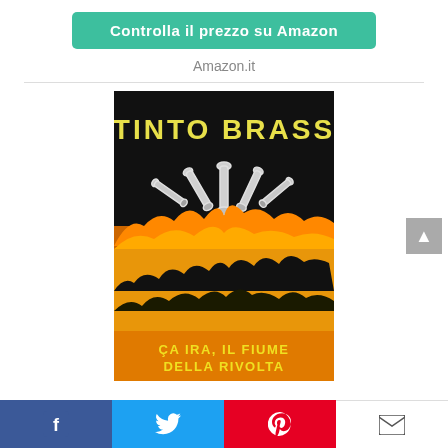Controlla il prezzo su Amazon
Amazon.it
[Figure (illustration): Book cover for 'Ça Ira, Il Fiume della Rivolta' by Tinto Brass. Black background at top with yellow stylized text 'TINTO BRASS'. Center shows skeletal hands/bones rising from flames. Bottom half shows orange/yellow crowd scene with black text 'ÇA IRA, IL FIUME DELLA RIVOLTA'.]
Facebook | Twitter | Pinterest | Email